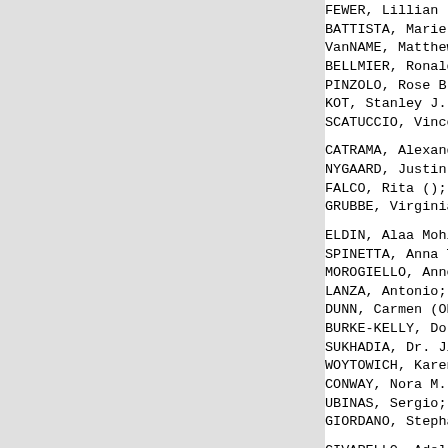FEWER, Lillian (BERRAN); 84; Bklyn NY>M
BATTISTA, Marie (ARCIONE); 77; New Lond
VanNAME, Matthew C.; 4; Midland Beach S
BELLMIER, Ronald W.; 80; New Brighton S
PINZOLO, Rose B. (BERTINI); 81; Port Ri
KOT, Stanley J.; 93; Manh NY>NJ>Elm Par
SCATUCCIO, Vincent Sr.; 86; Manh NY>Wes
CATRAMA, Alexander; 17; Dongan Hills SI
NYGAARD, Justin Michael; 18; Bklyn NY>G
FALCO, Rita (); 80; Bklyn NY>South Beac
GRUBBE, Virginia (MICHAELSON); 96; St.
ELDIN, Alaa Mohi; 49; Alexandria EGY>EG
SPINETTA, Anna Theresa (IACIOFOLI); 93;
MOROGIELLO, Anne E. (PERRY); 78; Bklyn
LANZA, Antonio; 62; Palermo, SIC>NY>Elt
DUNN, Carmen (ORTIZ); 82; San Juan PR>N
BURKE-KELLY, Dorothy; 68; New Brighton
SUKHADIA, Dr. Jitendra; 63; Cambay IND>
WOYTOWICH, Karen I. (SCHMIDT); 56; Quee
CONWAY, Nora M. (CORCORAN); 71; Bklyn N
UBINAS, Sergio; 65; PR>NY>Egbertville S
GIORDANO, Stephanie (CONIGLIARO); 60; B
CIVARELLO, Adeline (DelPELLEGRINO); 83;
VENDITTI, Antoinette (DeMICHELE); 73; S
HIGGINS, Eleanore (IVERSON); 91; Mabel
OCAMPO, Elvira (TOBIAS); 77; PHI>Granit
TESSALONE, Jeffrey; 48; Westerleigh SI